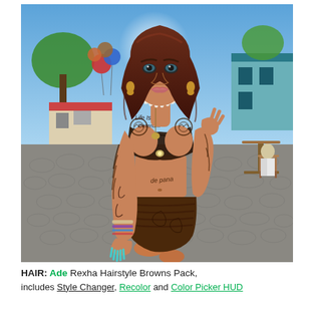[Figure (photo): A 3D rendered virtual world avatar — a female character with dark auburn hair, heavy tattoos covering arms, chest and torso, wearing a revealing lace-style top and short skirt with cutout midriff. She stands in an outdoor virtual environment with cobblestone plaza, cafe tables, trees, balloons, and other NPC characters in the background.]
HAIR: Ade Rexha Hairstyle Browns Pack, includes Style Changer, Recolor and Color Picker HUD